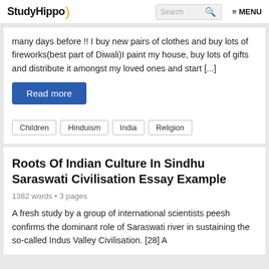StudyHippo) Search MENU
many days before !! I buy new pairs of clothes and buy lots of fireworks(best part of Diwali)I paint my house, buy lots of gifts and distribute it amongst my loved ones and start [...]
Read more
Children
Hinduism
India
Religion
Roots Of Indian Culture In Sindhu Saraswati Civilisation Essay Example
1382 words • 3 pages
A fresh study by a group of international scientists peesh confirms the dominant role of Saraswati river in sustaining the so-called Indus Valley Civilisation. [28] A